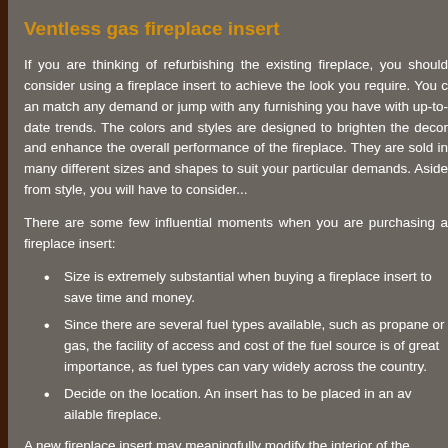Ventless gas fireplace insert
If you are thinking of refurbishing the existing fireplace, you should consider using a fireplace insert to achieve the look you require. You can match any demand or jump with any furnishing you have with up-to-date trends. The colors and styles are designed to brighten the decor and enhance the overall performance of the fireplace. They are sold in many different sizes and shapes to suit your particular demands. Aside from style, you will have to consider...
There are some few influential moments when you are purchasing a fireplace insert:
Size is extremely substantial when buying a fireplace insert to save time and money.
Since there are several fuel types available, such as propane or gas, the facility of access and cost of the fuel source is of great importance, as fuel types can vary widely across the country.
Decide on the location. An insert has to be placed in an available fireplace.
A new fireplace insert may meaningfully modify the interior of the...